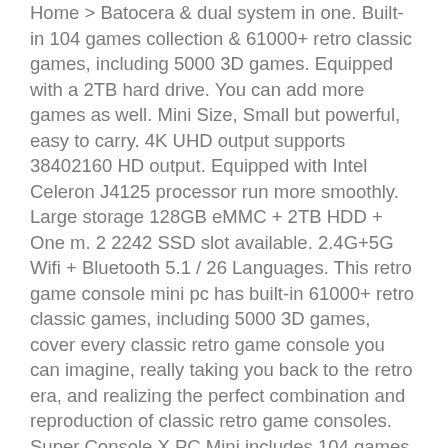Home > Batocera & dual system in one. Built-in 104 games collection & 61000+ retro classic games, including 5000 3D games. Equipped with a 2TB hard drive. You can add more games as well. Mini Size, Small but powerful, easy to carry. 4K UHD output supports 38402160 HD output. Equipped with Intel Celeron J4125 processor run more smoothly. Large storage 128GB eMMC + 2TB HDD + One m. 2 2242 SSD slot available. 2.4G+5G Wifi + Bluetooth 5.1 / 26 Languages. This retro game console mini pc has built-in 61000+ retro classic games, including 5000 3D games, cover every classic retro game console you can imagine, really taking you back to the retro era, and realizing the perfect combination and reproduction of classic retro game consoles. Super Console X PC Mini includes 104 games collection and 61000+ games. Equipped with a 2TB hard drive, you can add your favorite games, and enjoy the games with family and friends. Equipped with Intel Celeron J4125 processor...